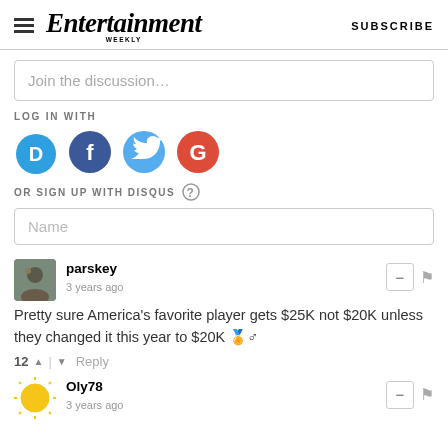Entertainment Weekly — SUBSCRIBE
Join the discussion…
LOG IN WITH
[Figure (illustration): Four social login icons: Disqus (blue speech bubble with D), Facebook (dark blue circle with f), Twitter (light blue circle with bird), Google (red circle with G)]
OR SIGN UP WITH DISQUS ?
Name
parskey
3 years ago
Pretty sure America's favorite player gets $25K not $20K unless they changed it this year to $20K 🏅♂
12 ▲ | ▼ Reply
Oly78
3 years ago